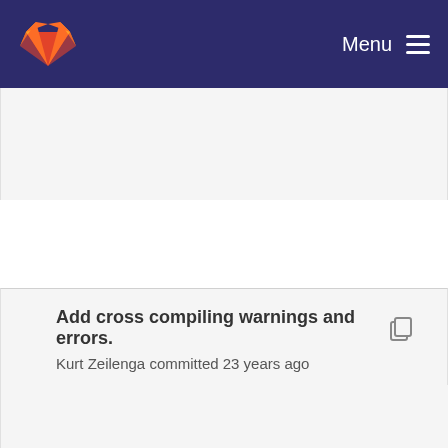Menu
Add cross compiling warnings and errors.
Kurt Zeilenga committed 23 years ago